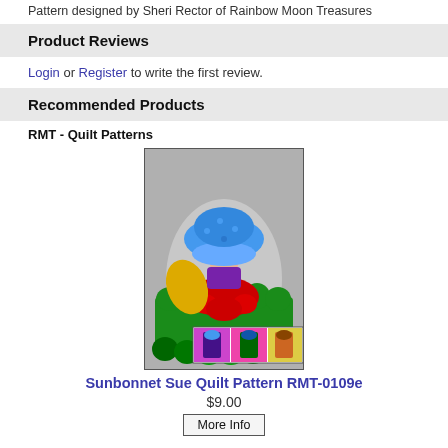Pattern designed by Sheri Rector of Rainbow Moon Treasures
Product Reviews
Login or Register to write the first review.
Recommended Products
RMT - Quilt Patterns
[Figure (illustration): Pixelated illustration of a Sunbonnet Sue quilt pattern showing a girl figure with a large blue bonnet, colorful dress, surrounded by green shapes, with three small thumbnail variants at the bottom]
Sunbonnet Sue Quilt Pattern RMT-0109e
$9.00
More Info